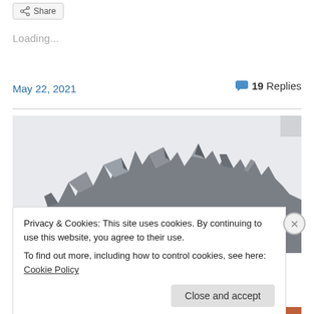Share
Loading...
May 22, 2021
19 Replies
[Figure (photo): Jagged rocky mountain peaks against a pale sky, black and white / desaturated tones]
Privacy & Cookies: This site uses cookies. By continuing to use this website, you agree to their use.
To find out more, including how to control cookies, see here: Cookie Policy
Close and accept